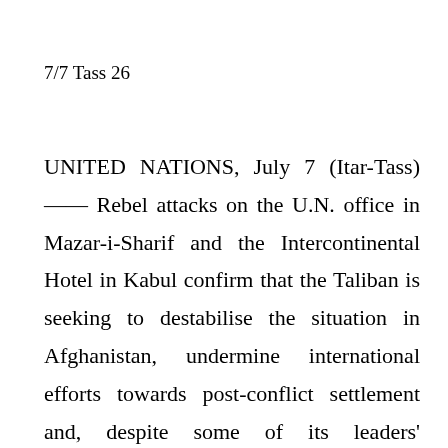7/7 Tass 26
UNITED NATIONS, July 7 (Itar-Tass) —— Rebel attacks on the U.N. office in Mazar-i-Sharif and the Intercontinental Hotel in Kabul confirm that the Taliban is seeking to destabilise the situation in Afghanistan, undermine international efforts towards post-conflict settlement and, despite some of its leaders' statements, continues to ignore the